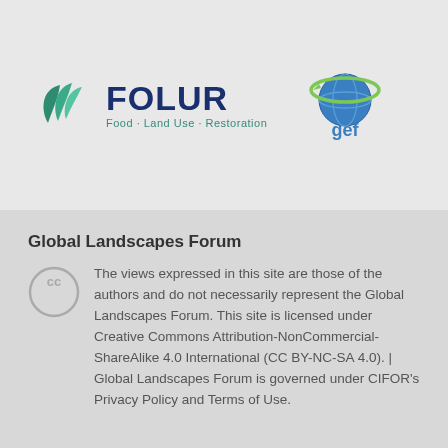[Figure (logo): FOLUR logo with leaf icon and text 'Food · Land Use · Restoration']
[Figure (logo): GEF (Global Environment Facility) globe logo with 'gef' text]
Global Landscapes Forum
The views expressed in this site are those of the authors and do not necessarily represent the Global Landscapes Forum. This site is licensed under Creative Commons Attribution-NonCommercial-ShareAlike 4.0 International (CC BY-NC-SA 4.0). | Global Landscapes Forum is governed under CIFOR's Privacy Policy and Terms of Use.